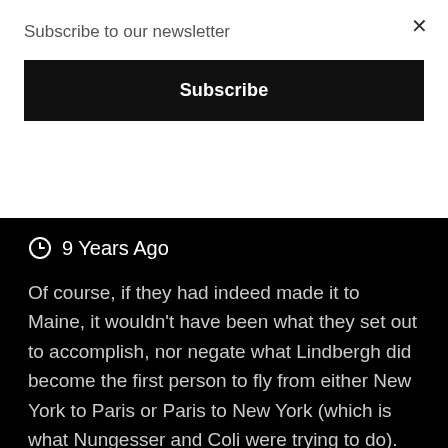Subscribe to our newsletter
Subscribe
×
9 Years Ago
Of course, if they had indeed made it to Maine, it wouldn't have been what they set out to accomplish, nor negate what Lindbergh did become the first person to fly from either New York to Paris or Paris to New York (which is what Nungesser and Coli were trying to do). Also, as we know, Lindbergh was the first to fly solo across the Atlantic, and,